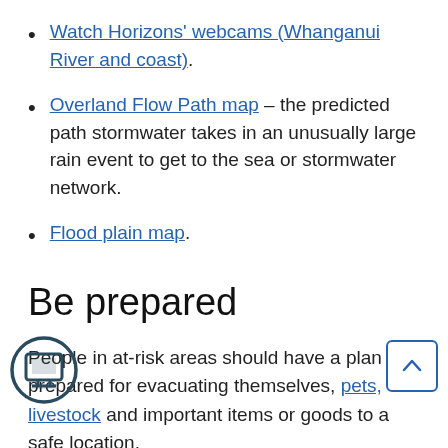Watch Horizons' webcams (Whanganui River and coast).
Overland Flow Path map – the predicted path stormwater takes in an unusually large rain event to get to the sea or stormwater network.
Flood plain map.
Be prepared
People in at-risk areas should have a plan prepared for evacuating themselves, pets, livestock and important items or goods to a safe location.
Flooding may also impact our roads, so make sure you have supplies ready in your car in case you are stranded for some time. You may also be stuck at
[Figure (illustration): Circular icon with a computer/monitor graphic, bottom left corner]
[Figure (other): Back to top button, chevron pointing up, blue border, bottom right corner]